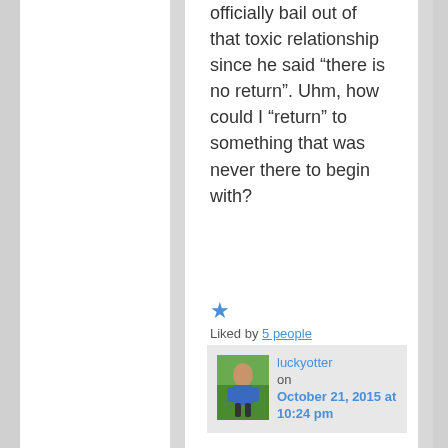officially bail out of that toxic relationship since he said “there is no return”. Uhm, how could I “return” to something that was never there to begin with?
★ Liked by 5 people
luckyotter on October 21, 2015 at 10:24 pm